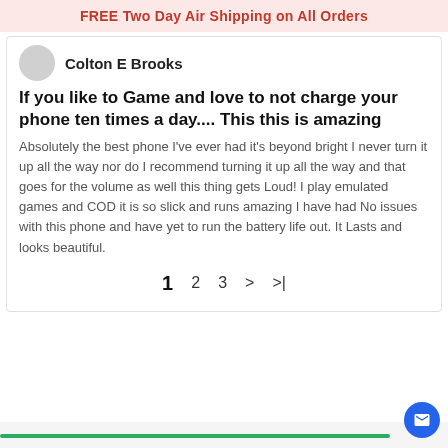FREE Two Day Air Shipping on All Orders
Colton E Brooks
If you like to Game and love to not charge your phone ten times a day.... This this is amazing
Absolutely the best phone I've ever had it's beyond bright I never turn it up all the way nor do I recommend turning it up all the way and that goes for the volume as well this thing gets Loud! I play emulated games and COD it is so slick and runs amazing I have had No issues with this phone and have yet to run the battery life out. It Lasts and looks beautiful.
1  2  3  >  >|